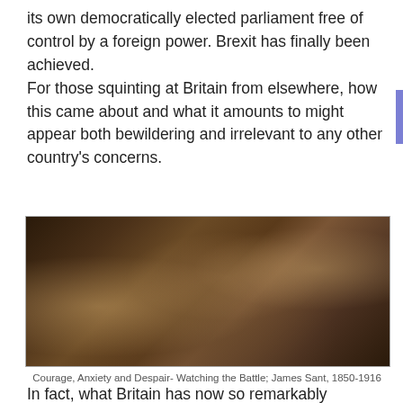its own democratically elected parliament free of control by a foreign power. Brexit has finally been achieved. For those squinting at Britain from elsewhere, how this came about and what it amounts to might appear both bewildering and irrelevant to any other country's concerns.
[Figure (photo): Painting showing three figures (two women and a man) in dramatic pose, seemingly watching a battle from a rocky hiding place. The figures wear period clothing from the 1800s.]
Courage, Anxiety and Despair- Watching the Battle; James Sant, 1850-1916
In fact, what Britain has now so remarkably achieved, and how it did so, provides an object lesson in strategy and